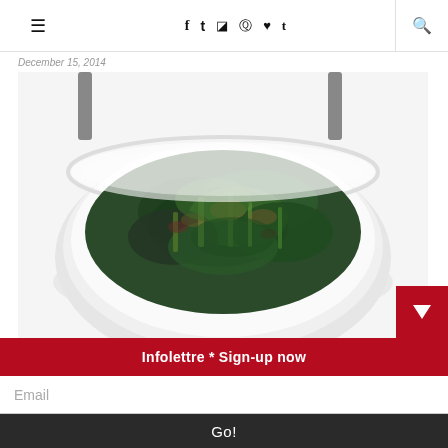≡  f  t  ☎  ♥  t  🔍
December 15, 2014
[Figure (photo): Overhead view of a white bowl filled with sautéed dark green leafy vegetables (kale/greens) with stems, photographed on a white background with gray chopsticks visible at top]
Infolettre * Sign-up now
Email
Go!